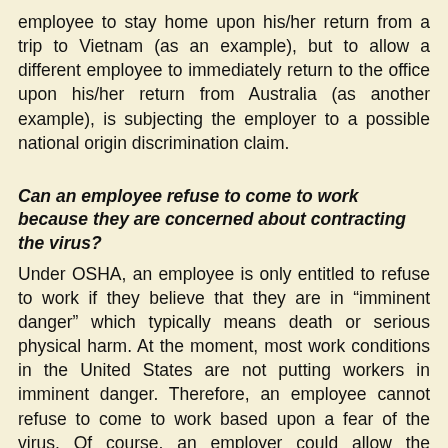employee to stay home upon his/her return from a trip to Vietnam (as an example), but to allow a different employee to immediately return to the office upon his/her return from Australia (as another example), is subjecting the employer to a possible national origin discrimination claim.
Can an employee refuse to come to work because they are concerned about contracting the virus?
Under OSHA, an employee is only entitled to refuse to work if they believe that they are in “imminent danger” which typically means death or serious physical harm. At the moment, most work conditions in the United States are not putting workers in imminent danger. Therefore, an employee cannot refuse to come to work based upon a fear of the virus. Of course, an employer could allow the employee the option to use unpaid or paid leave (if applicable).
Are there other legal risks for employers?
Yes, the federal Occupational Safety and Health Act and many similar state laws may require employers to protect workers from exposure to airborne infectious diseases in the workplace, such as the novel Coronavirus. While there is no specific